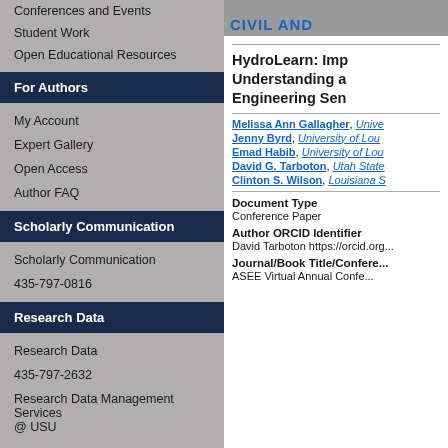Conferences and Events
Student Work
Open Educational Resources
For Authors
My Account
Expert Gallery
Open Access
Author FAQ
Scholarly Communication
Scholarly Communication
435-797-0816
Research Data
Research Data
435-797-2632
Research Data Management Services @ USU
[Figure (photo): Partial photo of people with 'CIVIL AND' text overlay in blue]
HydroLearn: Imp... Understanding a... Engineering Sen...
Melissa Ann Gallagher, Unive...
Jenny Byrd, University of Lou...
Emad Habib, University of Lou...
David G. Tarboton, Utah State...
Clinton S. Wilson, Louisiana S...
Document Type
Conference Paper
Author ORCID Identifier
David Tarboton https://orcid.org...
Journal/Book Title/Conference...
ASEE Virtual Annual Confe...